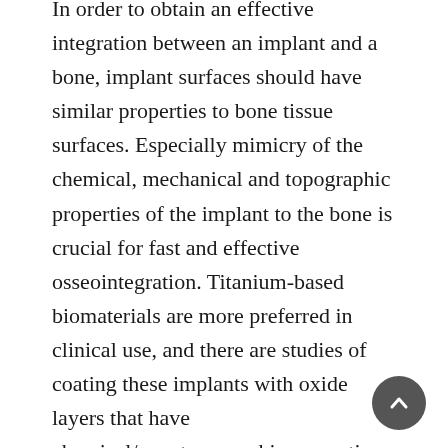In order to obtain an effective integration between an implant and a bone, implant surfaces should have similar properties to bone tissue surfaces. Especially mimicry of the chemical, mechanical and topographic properties of the implant to the bone is crucial for fast and effective osseointegration. Titanium-based biomaterials are more preferred in clinical use, and there are studies of coating these implants with oxide layers that have chemical/nanotopographic properties stimulating cell interactions for enhanced osseointegration. There are low success rates of current implantations, especially in craniofacial implant applications, which are large and vital zones, and the oxide layer coating increases bone-implant integration providing long-lasting implants without requiring revision surgery. Our aim in this study is to examine bone-cell behavior on titanium implants with an aluminum oxide layer (AAO) on effective